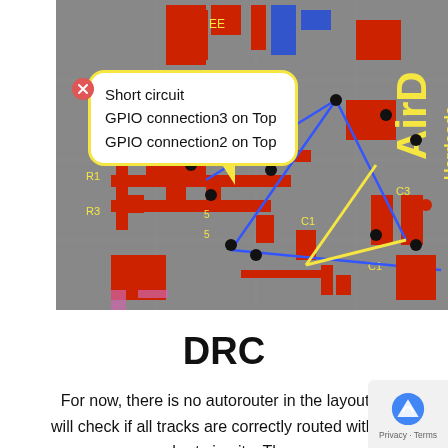[Figure (screenshot): PCB layout screenshot showing a circuit board design in KiCad or similar EDA software with a tooltip popup indicating a short circuit between GPIO connection3 on Top and GPIO connection2 on Top. The board shows red copper traces, blue ratsnest lines, gray background, yellow text labels including 'AirD' and 'Hardcode', component labels R1, R3, C1, C3, U6, and various pads.]
Short circuit
GPIO connection3 on Top
GPIO connection2 on Top
DRC
For now, there is no autorouter in the layout to will check if all tracks are correctly routed with no or short circuits. Thus,